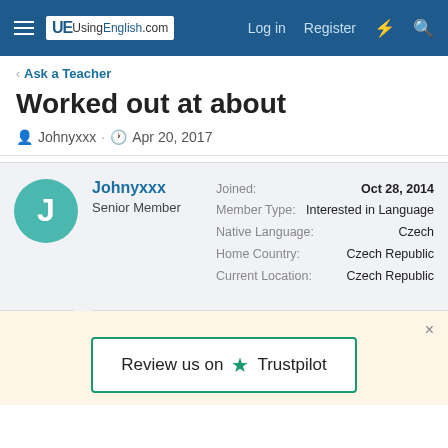UsingEnglish.com — Log in  Register
< Ask a Teacher
Worked out at about
Johnyxxx · Apr 20, 2017
Johnyxxx
Senior Member
Joined: Oct 28, 2014
Member Type: Interested in Language
Native Language: Czech
Home Country: Czech Republic
Current Location: Czech Republic
Review us on ★ Trustpilot